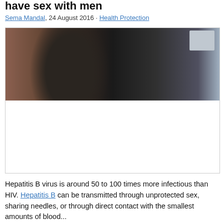have sex with men
Sema Mandal, 24 August 2016 · Health Protection
[Figure (photo): A silhouetted person in dark clothing photographed against an urban background with brick buildings and sky]
Hepatitis B virus is around 50 to 100 times more infectious than HIV. Hepatitis B can be transmitted through unprotected sex, sharing needles, or through direct contact with the smallest amounts of blood...